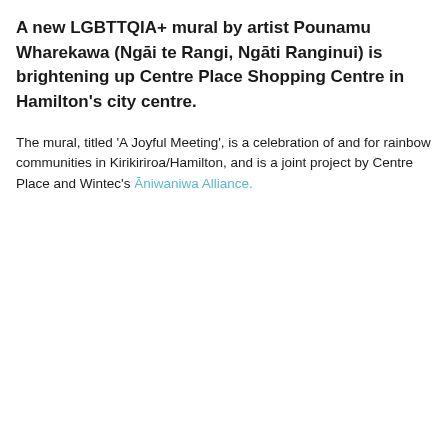A new LGBTTQIA+ mural by artist Pounamu Wharekawa (Ngāi te Rangi, Ngāti Ranginui) is brightening up Centre Place Shopping Centre in Hamilton's city centre.
The mural, titled 'A Joyful Meeting', is a celebration of and for rainbow communities in Kirikiriroa/Hamilton, and is a joint project by Centre Place and Wintec's Āniwaniwa Alliance.